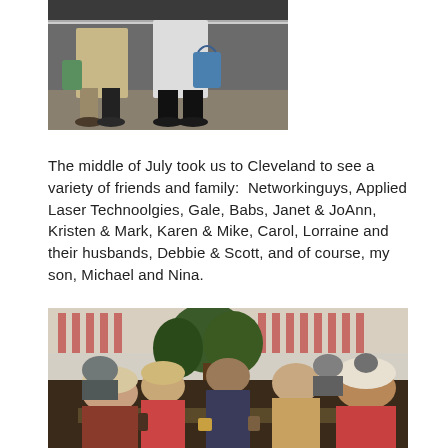[Figure (photo): Two people standing indoors, one carrying a blue bag, partial crop showing lower bodies and feet.]
The middle of July took us to Cleveland to see a variety of friends and family:  Networkinguys, Applied Laser Technoolgies, Gale, Babs, Janet & JoAnn, Kristen & Mark, Karen & Mike, Carol, Lorraine and their husbands, Debbie & Scott, and of course, my son, Michael and Nina.
[Figure (photo): Group of people sitting around a table in a restaurant with tropical decor, plants visible in background.]